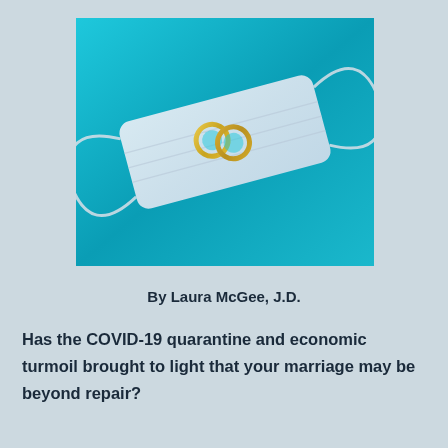[Figure (photo): A white surgical face mask with two gold wedding rings resting on top, set against a bright teal/blue background.]
By Laura McGee, J.D.
Has the COVID-19 quarantine and economic turmoil brought to light that your marriage may be beyond repair?